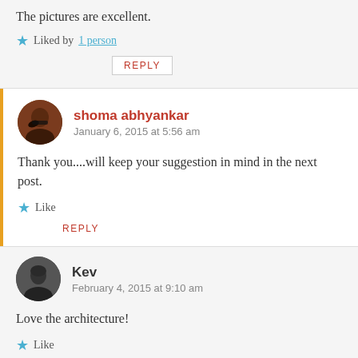The pictures are excellent.
★ Liked by 1 person
REPLY
shoma abhyankar
January 6, 2015 at 5:56 am
Thank you....will keep your suggestion in mind in the next post.
★ Like
REPLY
Kev
February 4, 2015 at 9:10 am
Love the architecture!
★ Like